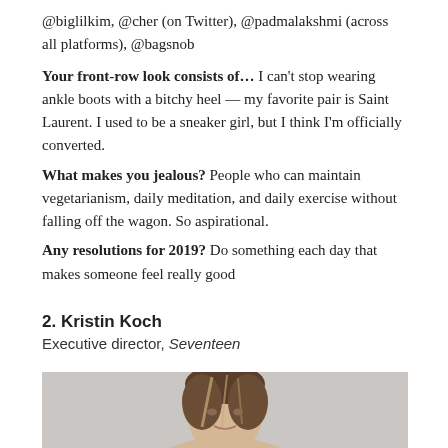@biglilkim, @cher (on Twitter), @padmalakshmi (across all platforms), @bagsnob
Your front-row look consists of... I can't stop wearing ankle boots with a bitchy heel — my favorite pair is Saint Laurent. I used to be a sneaker girl, but I think I'm officially converted.
What makes you jealous? People who can maintain vegetarianism, daily meditation, and daily exercise without falling off the wagon. So aspirational.
Any resolutions for 2019? Do something each day that makes someone feel really good
2. Kristin Koch
Executive director, Seventeen
[Figure (photo): Portrait photo of Kristin Koch, a woman with medium-length highlighted brown hair, against a gray background]